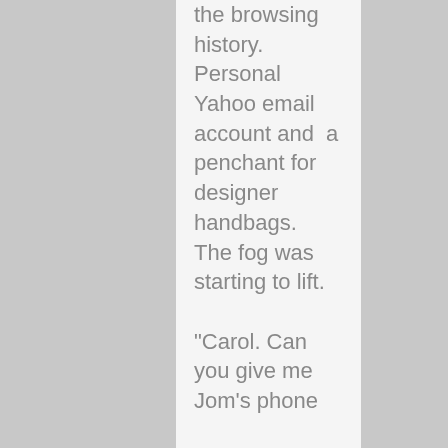the browsing history. Personal Yahoo email account and a penchant for designer handbags. The fog was starting to lift.

"Carol. Can you give me Jom's phone